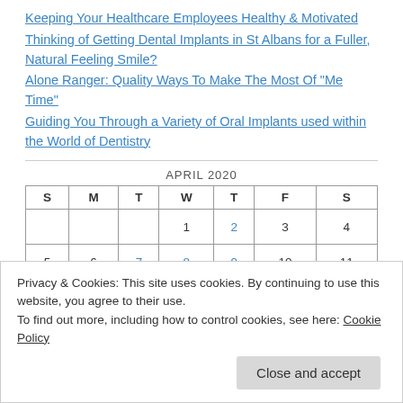Keeping Your Healthcare Employees Healthy & Motivated
Thinking of Getting Dental Implants in St Albans for a Fuller, Natural Feeling Smile?
Alone Ranger: Quality Ways To Make The Most Of "Me Time"
Guiding You Through a Variety of Oral Implants used within the World of Dentistry
| S | M | T | W | T | F | S |
| --- | --- | --- | --- | --- | --- | --- |
|  |  |  | 1 | 2 | 3 | 4 |
| 5 | 6 | 7 | 8 | 9 | 10 | 11 |
Privacy & Cookies: This site uses cookies. By continuing to use this website, you agree to their use.
To find out more, including how to control cookies, see here: Cookie Policy